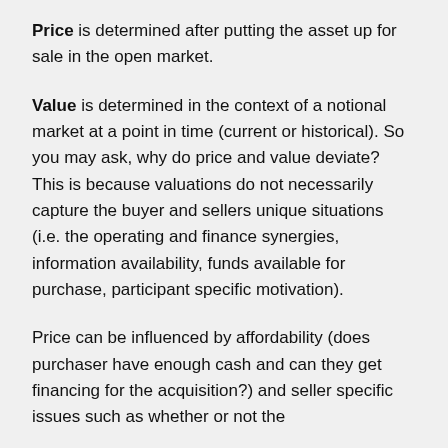Price is determined after putting the asset up for sale in the open market.
Value is determined in the context of a notional market at a point in time (current or historical). So you may ask, why do price and value deviate? This is because valuations do not necessarily capture the buyer and sellers unique situations (i.e. the operating and finance synergies, information availability, funds available for purchase, participant specific motivation).
Price can be influenced by affordability (does purchaser have enough cash and can they get financing for the acquisition?) and seller specific issues such as whether or not the